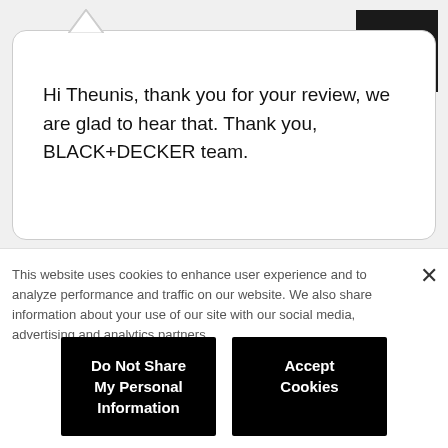[Figure (logo): BLACK+DECKER logo — orange text on black square background]
Hi Theunis, thank you for your review, we are glad to hear that. Thank you, BLACK+DECKER team.
This website uses cookies to enhance user experience and to analyze performance and traffic on our website. We also share information about your use of our site with our social media, advertising and analytics partners.
Do Not Share My Personal Information
Accept Cookies